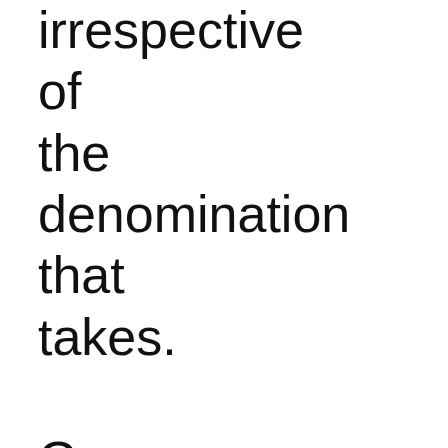irrespective of the denomination that takes. Our readers should be aware that